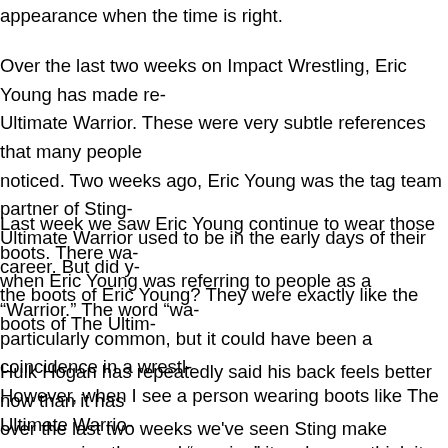appearance when the time is right.
Over the last two weeks on Impact Wrestling, Eric Young has made re- Ultimate Warrior. These were very subtle references that many people noticed. Two weeks ago, Eric Young was the tag team partner of Sting- Ultimate Warrior used to be in the early days of their career. But did y- the boots of Eric Young? They were exactly like the boots of The Ulti-
Last week we saw Eric Young continue to wear those boots. There wa- when Eric Young was referring to people as a "Warrior." The word "wa- particularly common, but it could have been a coincidence in a wrestl- However, when I see a person wearing boots like The Ultimate Warrio- person using the word "warrior," it makes me think it isn't a coincidend-
Hulk Hogan has repeatedly said his back feels better now than it has over the last two weeks we've seen Sting make progress in turning th- supporters of Hulk Hogan. I believe Hulk Hogan will turn into a good-g- when he does, it wouldn't surprise me if characters such as The Ulti-